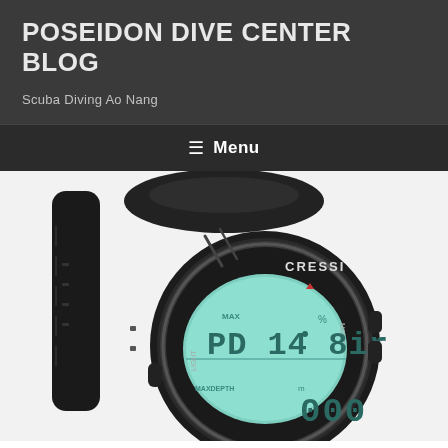POSEIDON DIVE CENTER BLOG
Scuba Diving Ao Nang
≡ Menu
[Figure (photo): Close-up photo of a Cressi dive computer watch with a black rubber strap, showing a teal/green LCD display reading MAX PD14 air % with MAXDEPTH and mode indicators, MODE and LIGHT buttons visible on the bezel.]